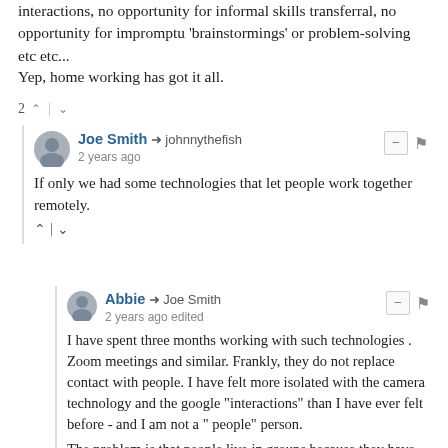interactions, no opportunity for informal skills transferral, no opportunity for impromptu 'brainstormings' or problem-solving etc etc...
Yep, home working has got it all.
2 ^ | v
Joe Smith → johnnythefish
2 years ago
If only we had some technologies that let people work together remotely.
^ | v
Abbie → Joe Smith
2 years ago edited
I have spent three months working with such technologies . Zoom meetings and similar. Frankly, they do not replace contact with people. I have felt more isolated with the camera technology and the google "interactions" than I have ever felt before - and I am not a " people" person.

The problem is that people live in groups because they have evolved that way - changing that isnt going to happen by